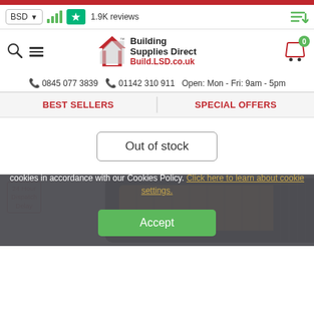BSD | signal bars | 1.9K reviews | sort icon
[Figure (logo): Building Supplies Direct logo with house icon and Build.LSD.co.uk URL]
0845 077 3839  01142 310 911  Open: Mon - Fri: 9am - 5pm
BEST SELLERS  |  SPECIAL OFFERS
Out of stock
[Figure (photo): Product image showing yellow and black road stud/reflector device with 24 Hour Dispatch Delay badge]
Cookie Policy
Our website uses cookies. By using our website, you consent to our use of cookies in accordance with our Cookies Policy. Click here to learn about cookie settings.
Accept